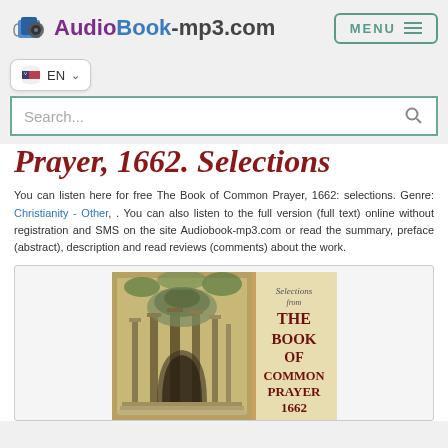AudioBook-mp3.com | MENU
EN
Search...
Prayer, 1662. Selections
You can listen here for free The Book of Common Prayer, 1662: selections. Genre: Christianity - Other, . You can also listen to the full version (full text) online without registration and SMS on the site Audiobook-mp3.com or read the summary, preface (abstract), description and read reviews (comments) about the work.
[Figure (illustration): Book cover of 'Selections from THE BOOK OF COMMON PRAYER 1662' showing an architectural engraving of a classical building with columns on the left, and the title text on the right side of the cover.]